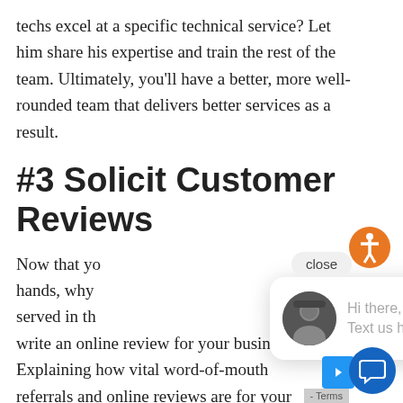techs excel at a specific technical service? Let him share his expertise and train the rest of the team. Ultimately, you'll have a better, more well-rounded team that delivers better services as a result.
#3 Solicit Customer Reviews
Now that yo... hands, why... served in th... write an online review for your business? Explaining how vital word-of-mouth referrals and online reviews are for your business will remind your customers just
[Figure (screenshot): Chat widget overlay with avatar photo of a man, text 'Hi there, have a question? Text us here.', close button, orange accessibility icon, and blue chat bubble button]